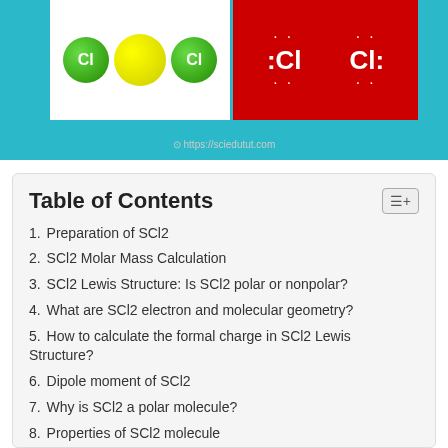[Figure (illustration): Teal background image showing a white box with a yellow sulfur atom and two green chlorine atoms, and a red box with two Cl labels with dots representing Lewis structure electron pairs. URL https://sciedutut.com shown at bottom.]
Table of Contents
1. Preparation of SCl2
2. SCl2 Molar Mass Calculation
3. SCl2 Lewis Structure: Is SCl2 polar or nonpolar?
4. What are SCl2 electron and molecular geometry?
5. How to calculate the formal charge in SCl2 Lewis Structure?
6. Dipole moment of SCl2
7. Why is SCl2 a polar molecule?
8. Properties of SCl2 molecule
9. Uses of SCl2 molecule
10. Conclusion
11. FAQ on “Is SCl2 polar or nonpolar?”